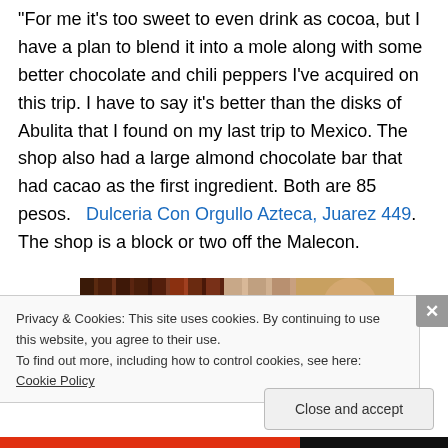For me it's too sweet to even drink as cocoa, but I have a plan to blend it into a mole along with some better chocolate and chili peppers I've acquired on this trip.  I have to say it's better than the disks of Abulita that I found on my last trip to Mexico.  The shop also had a large almond chocolate bar that had cacao as the first ingredient.  Both are 85 pesos.   Dulceria Con Orgullo Azteca, Juarez 449.  The shop is a block or two off the Malecon.
[Figure (photo): A partial photo strip showing dark chocolate bars and a person's face partially visible on the right side.]
Privacy & Cookies: This site uses cookies. By continuing to use this website, you agree to their use.
To find out more, including how to control cookies, see here: Cookie Policy
Close and accept